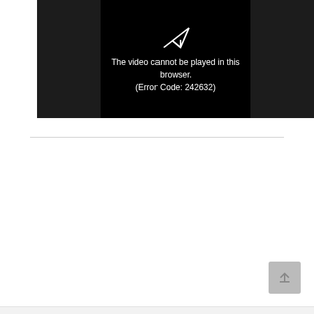[Figure (screenshot): Video player showing error message on black background with a paper airplane icon. Text reads: The video cannot be played in this browser. (Error Code: 242632)]
The video cannot be played in this browser. (Error Code: 242632)